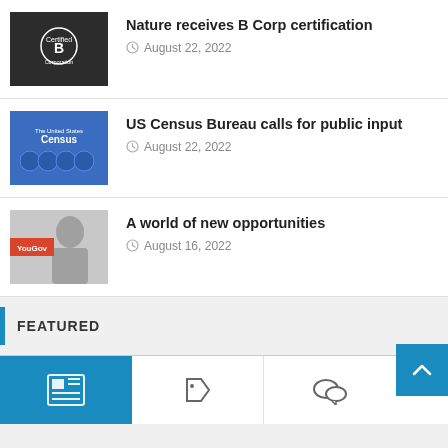[Figure (photo): B Corp certification logo on dark background with group of people]
Nature receives B Corp certification
August 22, 2022
[Figure (photo): US Census Bureau logo and people silhouettes on blue background]
US Census Bureau calls for public input
August 22, 2022
[Figure (photo): YouGov logo with woman portrait in grayscale]
A world of new opportunities
August 16, 2022
FEATURED
[Figure (other): Tab bar with news, tag, and comments icons; active tab highlighted in blue]